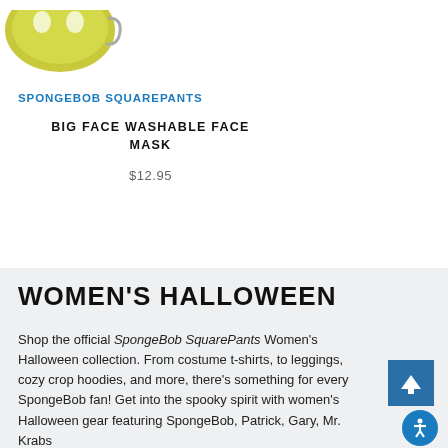[Figure (photo): Partial view of a yellow SpongeBob SquarePants face mask product shown from top-left corner]
SPONGEBOB SQUAREPANTS
BIG FACE WASHABLE FACE MASK
$12.95
WOMEN'S HALLOWEEN
Shop the official SpongeBob SquarePants Women's Halloween collection. From costume t-shirts, to leggings, cozy crop hoodies, and more, there's something for every SpongeBob fan! Get into the spooky spirit with women's Halloween gear featuring SpongeBob, Patrick, Gary, Mr. Krabs